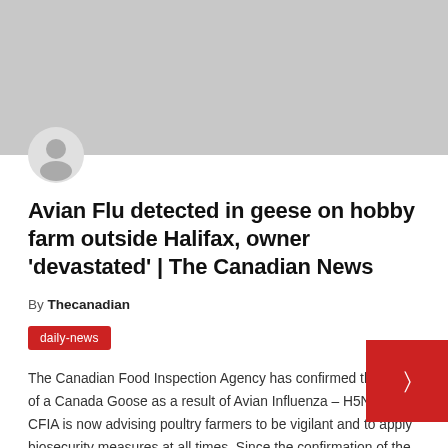[Figure (photo): Gray banner/header image placeholder with a circular user avatar icon overlapping the bottom-left edge]
Avian Flu detected in geese on hobby farm outside Halifax, owner 'devastated' | The Canadian News
By Thecanadian
daily-news
The Canadian Food Inspection Agency has confirmed the death of a Canada Goose as a result of Avian Influenza – H5N1. The CFIA is now advising poultry farmers to be vigilant and to apply biosecurity measures at all times. Since the confirmation of the